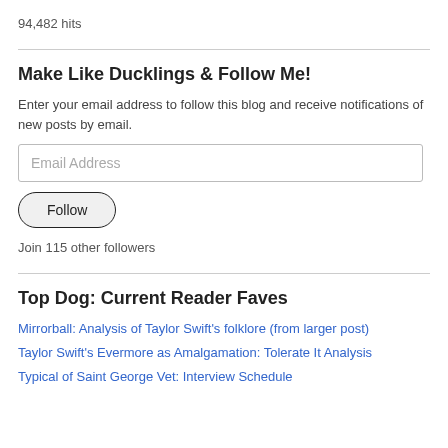94,482 hits
Make Like Ducklings & Follow Me!
Enter your email address to follow this blog and receive notifications of new posts by email.
Email Address
Follow
Join 115 other followers
Top Dog: Current Reader Faves
Mirrorball: Analysis of Taylor Swift's folklore (from larger post)
Taylor Swift's Evermore as Amalgamation: Tolerate It Analysis
Typical of Saint George Vet: Interview Schedule